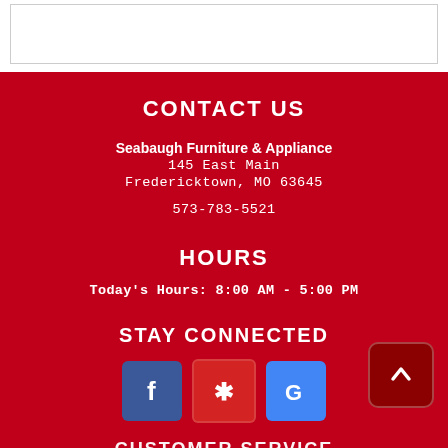CONTACT US
Seabaugh Furniture & Appliance
145 East Main
Fredericktown, MO 63645

573-783-5521
HOURS
Today's Hours: 8:00 AM - 5:00 PM
STAY CONNECTED
[Figure (infographic): Social media icons: Facebook (blue), Yelp (red), Google (blue)]
CUSTOMER SERVICE